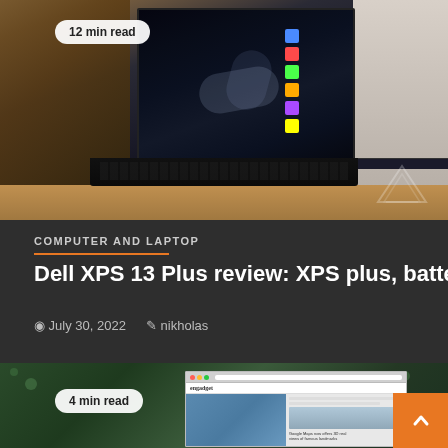[Figure (photo): Dell XPS 13 Plus laptop open on a wooden desk showing a dark wallpaper with water/mountain scene. Badge shows '12 min read'.]
12 min read
COMPUTER AND LAPTOP
Dell XPS 13 Plus review: XPS plus, battery minus
July 30, 2022  nikholas
[Figure (photo): Laptop showing Engadget website with green foliage background. Badge shows '4 min read'. Orange scroll-to-top button visible.]
4 min read